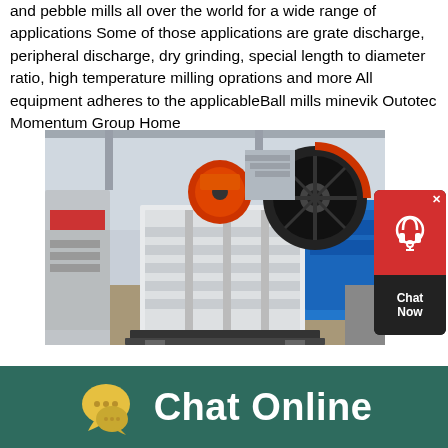and pebble mills all over the world for a wide range of applications Some of those applications are grate discharge, peripheral discharge, dry grinding, special length to diameter ratio, high temperature milling oprations and more All equipment adheres to the applicableBall mills minevik Outotec Momentum Group Home
[Figure (photo): Industrial jaw crusher machine in a factory setting. Large white heavy-duty jaw crusher with orange and black flywheels, positioned on the factory floor with other industrial equipment visible in the background.]
[Figure (screenshot): Chat support widget in the top-right corner. Red background with headphone icon at top, dark background with 'Chat Now' text at bottom. Has an X close button.]
Chat Online